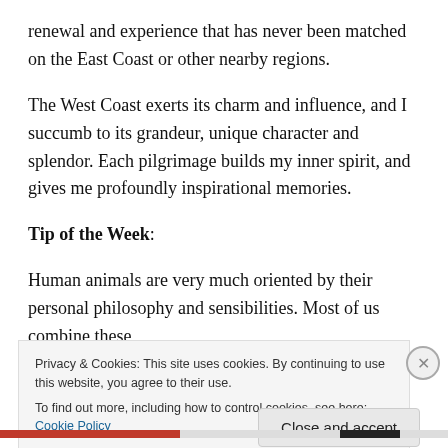renewal and experience that has never been matched on the East Coast or other nearby regions.
The West Coast exerts its charm and influence, and I succumb to its grandeur, unique character and splendor. Each pilgrimage builds my inner spirit, and gives me profoundly inspirational memories.
Tip of the Week:
Human animals are very much oriented by their personal philosophy and sensibilities. Most of us combine these
Privacy & Cookies: This site uses cookies. By continuing to use this website, you agree to their use.
To find out more, including how to control cookies, see here: Cookie Policy
Close and accept